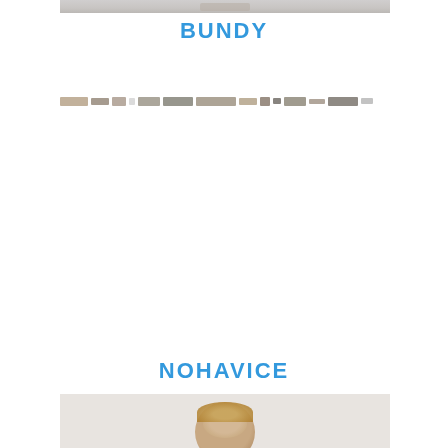[Figure (photo): Top of a photograph visible at the very top of the page, showing a blurred/partial image]
BUNDY
[Figure (photo): A blurred horizontal strip of small thumbnail images or product images]
NOHAVICE
[Figure (photo): Bottom portion of page showing top of a person's head with brown/blonde hair against a light grey background]